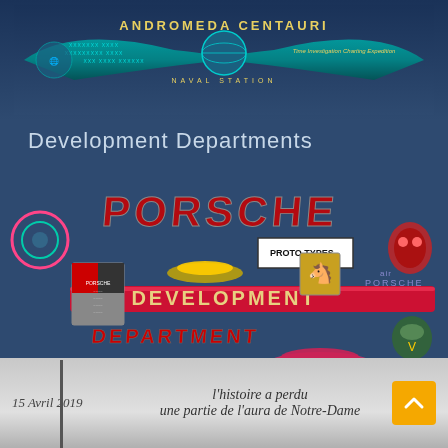[Figure (logo): Andromeda Centauri Naval Station logo with teal wing-shaped banner and globe, text reads ANDROMEDA CENTAURI, NAVAL STATION, Time Investigation Charting Expedition]
Development Departments
[Figure (logo): Porsche Development Department logo with PORSCHE PROTOTYPES text, Porsche crest shield, horse emblem, stylized 3D red letters spelling DEVELOPMENT DEPARTMENT, sports car illustrations, and Air Porsche text]
[Figure (infographic): Bottom banner with date 15 Avril 2019, italic French text: l'histoire a perdu une partie de l'aura de Notre-Dame, orange arrow button, and cathedral spire silhouette]